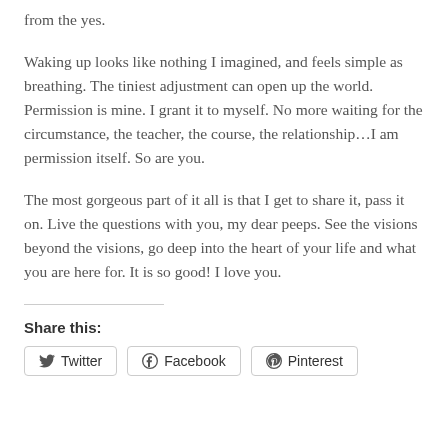from the yes.
Waking up looks like nothing I imagined, and feels simple as breathing. The tiniest adjustment can open up the world. Permission is mine. I grant it to myself. No more waiting for the circumstance, the teacher, the course, the relationship…I am permission itself. So are you.
The most gorgeous part of it all is that I get to share it, pass it on. Live the questions with you, my dear peeps. See the visions beyond the visions, go deep into the heart of your life and what you are here for. It is so good! I love you.
Share this:
Twitter | Facebook | Pinterest